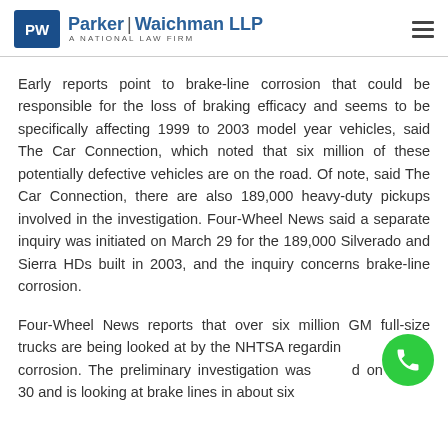Parker | Waichman LLP — A National Law Firm
Early reports point to brake-line corrosion that could be responsible for the loss of braking efficacy and seems to be specifically affecting 1999 to 2003 model year vehicles, said The Car Connection, which noted that six million of these potentially defective vehicles are on the road. Of note, said The Car Connection, there are also 189,000 heavy-duty pickups involved in the investigation. Four-Wheel News said a separate inquiry was initiated on March 29 for the 189,000 Silverado and Sierra HDs built in 2003, and the inquiry concerns brake-line corrosion.
Four-Wheel News reports that over six million GM full-size trucks are being looked at by the NHTSA regarding brake-line corrosion. The preliminary investigation was initiated on March 30 and is looking at brake lines in about six